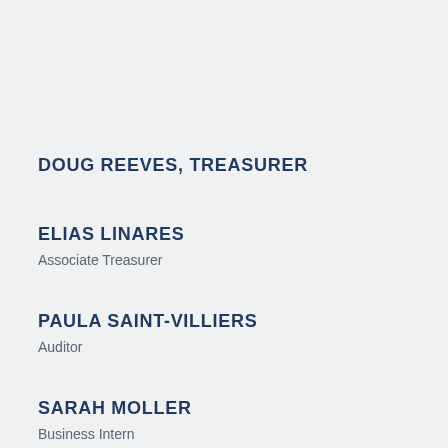DOUG REEVES, TREASURER
ELIAS LINARES
Associate Treasurer
PAULA SAINT-VILLIERS
Auditor
SARAH MOLLER
Business Intern